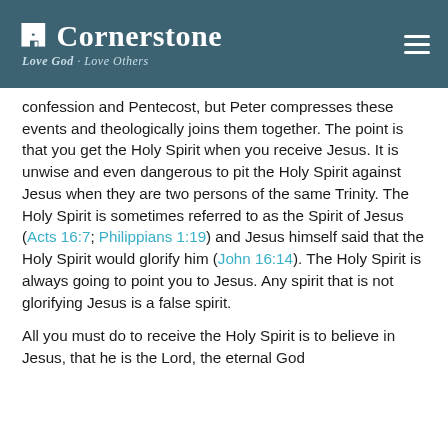Cornerstone — Love God · Love Others
confession and Pentecost, but Peter compresses these events and theologically joins them together. The point is that you get the Holy Spirit when you receive Jesus. It is unwise and even dangerous to pit the Holy Spirit against Jesus when they are two persons of the same Trinity. The Holy Spirit is sometimes referred to as the Spirit of Jesus (Acts 16:7; Philippians 1:19) and Jesus himself said that the Holy Spirit would glorify him (John 16:14). The Holy Spirit is always going to point you to Jesus. Any spirit that is not glorifying Jesus is a false spirit.
All you must do to receive the Holy Spirit is to believe in Jesus, that he is the Lord, the eternal God